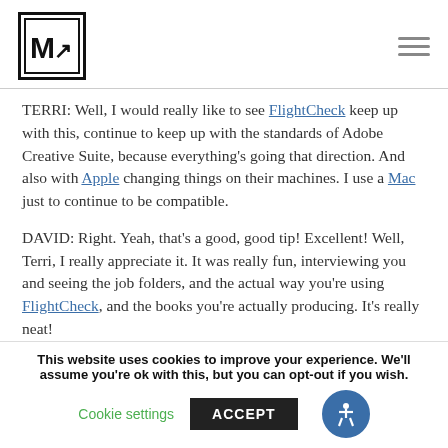[Figure (logo): M with arrow logo mark in black border square, and hamburger menu icon top right]
TERRI: Well, I would really like to see FlightCheck keep up with this, continue to keep up with the standards of Adobe Creative Suite, because everything's going that direction. And also with Apple changing things on their machines. I use a Mac just to continue to be compatible.
DAVID: Right. Yeah, that's a good, good tip! Excellent! Well, Terri, I really appreciate it. It was really fun, interviewing you and seeing the job folders, and the actual way you're using FlightCheck, and the books you're actually producing. It's really neat!
This website uses cookies to improve your experience. We'll assume you're ok with this, but you can opt-out if you wish.
Cookie settings   ACCEPT